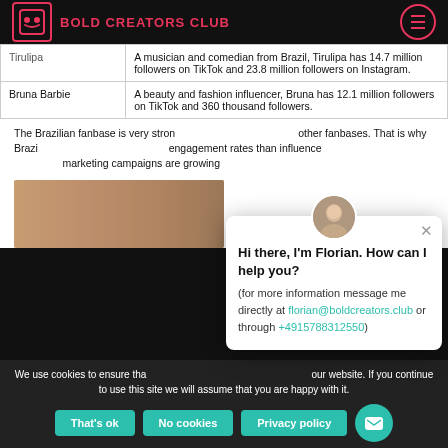BOLD CREATORS CLUB
| Tirulipa | A musician and comedian from Brazil, Tirulipa has 14.7 million followers on TikTok and 23.8 million followers on Instagram. |
| Bruna Barbie | A beauty and fashion influencer, Bruna has 12.1 million followers on TikTok and 360 thousand followers. |
The Brazilian fanbase is very strong and more engaged than other fanbases. That is why Brazilian influencers have higher engagement rates than influencers from other countries. influencer marketing campaigns are growing.
[Figure (photo): Blurred photo strip showing a person, warm toned background]
[Figure (screenshot): Chat popup with avatar of Florian. Text: Hi there, I'm Florian. How can I help you? (for more information message me directly at florian@boldcreators.club or through +4915788312550)]
We use cookies to ensure that we give you the best experience on our website. If you continue to use this site we will assume that you are happy with it.
That's ok
No cookies
Privacy policy